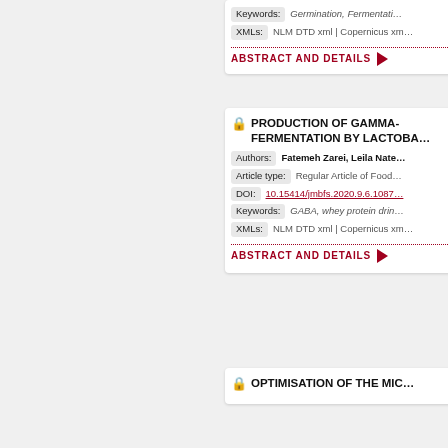Keywords: Germination, Fermentati…
XMLs: NLM DTD xml | Copernicus xm…
ABSTRACT AND DETAILS ▶
🔒 PRODUCTION OF GAMMA- FERMENTATION BY LACTOBA…
Authors: Fatemeh Zarei, Leila Nate…
Article type: Regular Article of Food…
DOI: 10.15414/jmbfs.2020.9.6.1087
Keywords: GABA, whey protein drin…
XMLs: NLM DTD xml | Copernicus xm…
ABSTRACT AND DETAILS ▶
🔒 OPTIMISATION OF THE MIC…